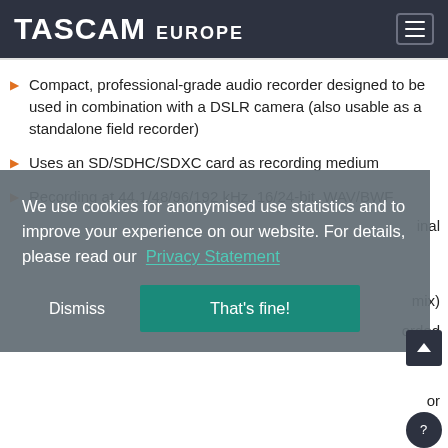TASCAM EUROPE
Compact, professional-grade audio recorder designed to be used in combination with a DSLR camera (also usable as a standalone field recorder)
Uses an SD/SDHC/SDXC card as recording medium
Recording at 44.1/48/96/192 kHz, 16/24-bit, WAV/BWF
[Figure (screenshot): Cookie consent overlay with text: 'We use cookies for anonymised use statistics and to improve your experience on our website. For details, please read our Privacy Statement' and buttons 'Dismiss' and 'That's fine!']